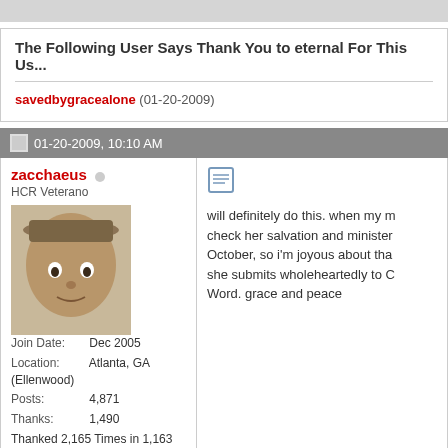The Following User Says Thank You to eternal For This Us...
savedbygracealone (01-20-2009)
01-20-2009, 10:10 AM
zacchaeus
HCR Veterano
[Figure (photo): Avatar photo of user zacchaeus wearing a hat]
Join Date: Dec 2005
Location: Atlanta, GA (Ellenwood)
Posts: 4,871
Thanks: 1,490
Thanked 2,165 Times in 1,163 Posts
will definitely do this. when my m... check her salvation and minister... October, so i'm joyous about tha... she submits wholeheartedly to C... Word. grace and peace
A.C.T.S. according to J3B blo...